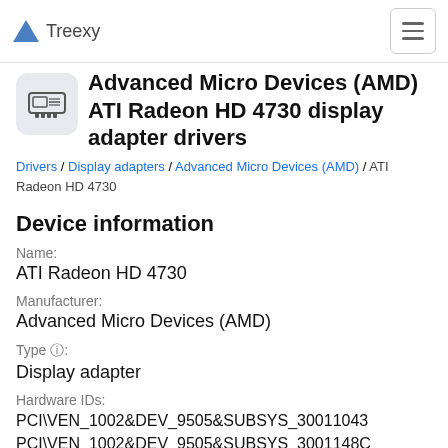Treexy
Advanced Micro Devices (AMD) ATI Radeon HD 4730 display adapter drivers
Drivers / Display adapters / Advanced Micro Devices (AMD) / ATI Radeon HD 4730
Device information
Name:
ATI Radeon HD 4730
Manufacturer:
Advanced Micro Devices (AMD)
Type ⓘ:
Display adapter
Hardware IDs:
PCI\VEN_1002&DEV_9505&SUBSYS_30011043
PCI\VEN_1002&DEV_9505&SUBSYS_3001148C
PCI\VEN_1002&DEV_9505&SUBSYS_3002148C